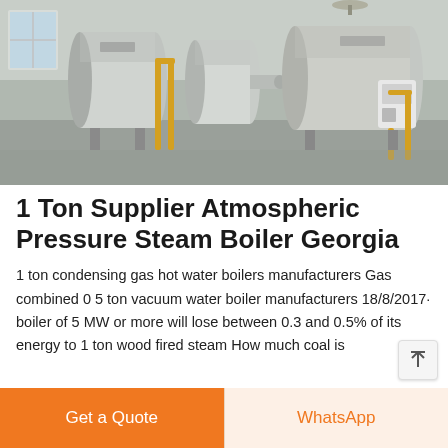[Figure (photo): Industrial boilers in a factory setting — large horizontal cylindrical steam boilers on stands, with yellow piping, in a large industrial hall with reflective floor.]
1 Ton Supplier Atmospheric Pressure Steam Boiler Georgia
1 ton condensing gas hot water boilers manufacturers Gas combined 0 5 ton vacuum water boiler manufacturers 18/8/2017· boiler of 5 MW or more will lose between 0.3 and 0.5% of its energy to 1 ton wood fired steam How much coal is